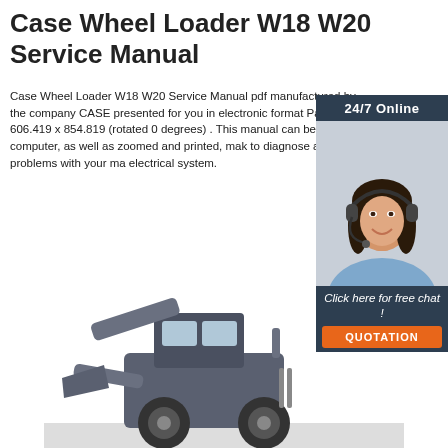Case Wheel Loader W18 W20 Service Manual
Case Wheel Loader W18 W20 Service Manual pdf manufactured by the company CASE presented for you in electronic format Page size 606.419 x 854.819 (rotated 0 degrees) . This manual can be viewed on computer, as well as zoomed and printed, making it easy to diagnose and repair problems with your machine electrical system.
[Figure (photo): Customer support representative with headset, 24/7 Online chat widget with orange QUOTATION button]
[Figure (photo): Grayscale image of a Case Wheel Loader machine (W18 or W20) at bottom of page]